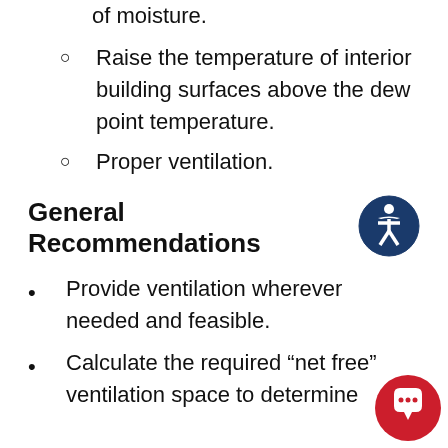of moisture.
Raise the temperature of interior building surfaces above the dew point temperature.
Proper ventilation.
General Recommendations
Provide ventilation wherever needed and feasible.
Calculate the required “net free” ventilation space to determine